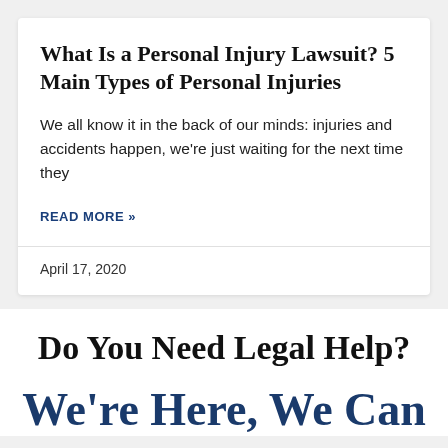What Is a Personal Injury Lawsuit? 5 Main Types of Personal Injuries
We all know it in the back of our minds: injuries and accidents happen, we're just waiting for the next time they
READ MORE »
April 17, 2020
Do You Need Legal Help?
We're Here, We Can